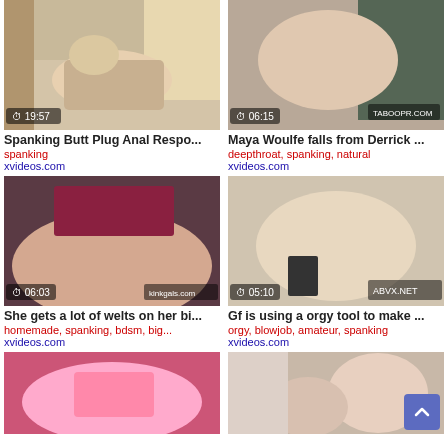[Figure (screenshot): Video thumbnail grid of adult content with titles, tags, and source links]
Spanking Butt Plug Anal Respo...
spanking
xvideos.com
Maya Woulfe falls from Derrick ...
deepthroat, spanking, natural
xvideos.com
She gets a lot of welts on her bi...
homemade, spanking, bdsm, big...
xvideos.com
Gf is using a orgy tool to make ...
orgy, blowjob, amateur, spanking
xvideos.com